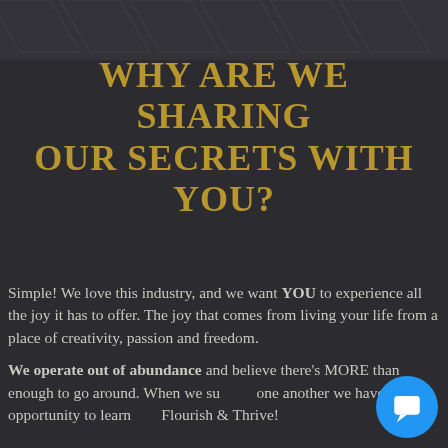WHY ARE WE SHARING OUR SECRETS WITH YOU?
Simple! We love this industry, and we want YOU to experience all the joy it has to offer. The joy that comes from living your life from a place of creativity, passion and freedom.
We operate out of abundance and believe there's MORE than enough to go around. When we support one another we have the opportunity to learn and Flourish & Thrive!